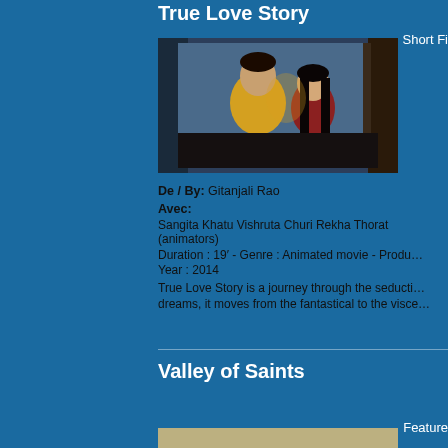True Love Story
Short Fi
[Figure (photo): Animated still from True Love Story showing two characters close together near a car window, one in yellow clothing]
De / By:  Gitanjali Rao
Avec:
Sangita Khatu   Vishruta Churi   Rekha Thorat (animators)
Duration : 19’ - Genre : Animated movie - Produ…
Year : 2014
True Love Story is a journey through the seducti… dreams, it moves from the fantastical to the visce…
Valley of Saints
Feature
[Figure (photo): Landscape photograph showing layered mountain silhouettes in misty bluish-grey tones]